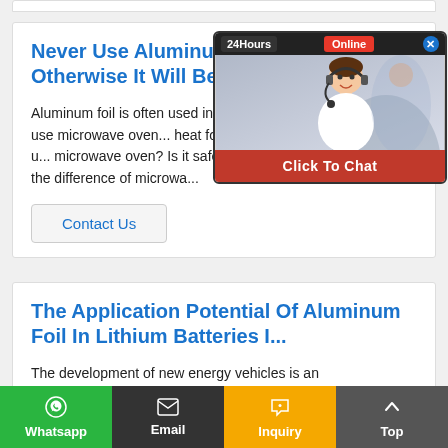Never Use Aluminum Foil In This Way, Otherwise It Will Be A Fire!
Aluminum foil is often used in our daily li... especially when we use microwave oven... heat food quickly. Can aluminum foil be u... microwave oven? Is it safe to do this? Pl... pay attention to the difference of microwa...
[Figure (photo): Live chat widget showing a customer service representative with headset, '24Hours Online' header, and 'Click To Chat' red button]
Contact Us
The Application Potential Of Aluminum Foil In Lithium Batteries I...
The development of new energy vehicles is an
Whatsapp  Email  Inquiry  Top